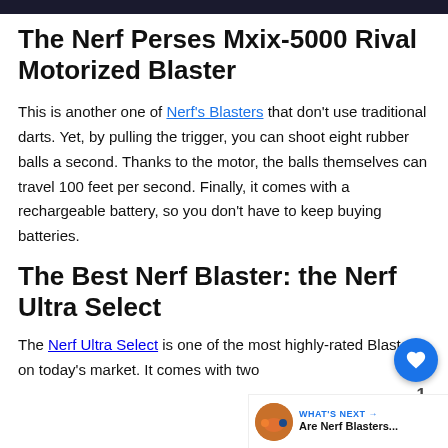The Nerf Perses Mxix-5000 Rival Motorized Blaster
This is another one of Nerf's Blasters that don't use traditional darts. Yet, by pulling the trigger, you can shoot eight rubber balls a second. Thanks to the motor, the balls themselves can travel 100 feet per second. Finally, it comes with a rechargeable battery, so you don't have to keep buying batteries.
The Best Nerf Blaster: the Nerf Ultra Select
The Nerf Ultra Select is one of the most highly-rated Blasters on today's market. It comes with two